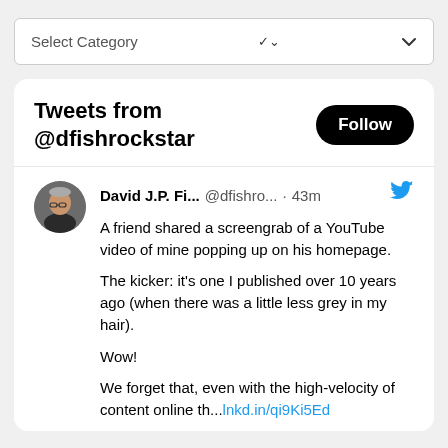Select Category
[Figure (screenshot): Twitter/X embedded tweet widget showing tweets from @dfishrockstar. Contains a Follow button, user avatar, tweet by David J.P. Fi... @dfishro... · 43m with text: A friend shared a screengrab of a YouTube video of mine popping up on his homepage. The kicker: it's one I published over 10 years ago (when there was a little less grey in my hair). Wow! We forget that, even with the high-velocity of content online th...lnkd.in/qi9Ki5Ed]